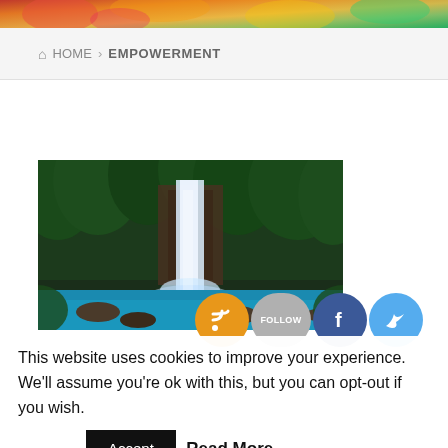[Figure (photo): Colorful floral top image strip]
HOME > EMPOWERMENT
[Figure (photo): A waterfall in a lush green tropical forest with blue water at the base and rocky surroundings]
This website uses cookies to improve your experience. We'll assume you're ok with this, but you can opt-out if you wish.
Accept   Read More